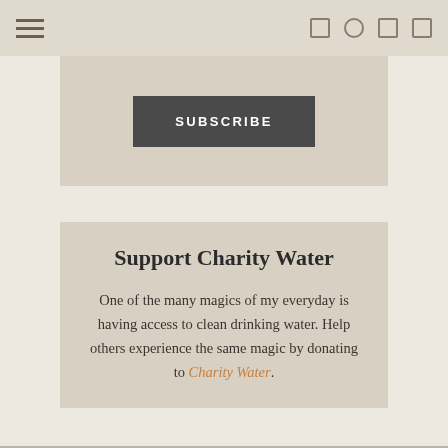Navigation bar with hamburger menu and social icons
SUBSCRIBE
Support Charity Water
One of the many magics of my everyday is having access to clean drinking water. Help others experience the same magic by donating to Charity Water.